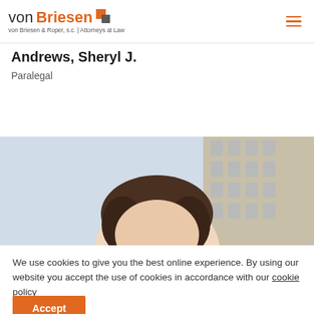von Briesen | von Briesen & Roper, s.c. | Attorneys at Law
Andrews, Sheryl J.
Paralegal
[Figure (photo): Professional headshot of Sheryl J. Andrews with a city building in the background]
We use cookies to give you the best online experience. By using our website you accept the use of cookies in accordance with our cookie policy
Accept